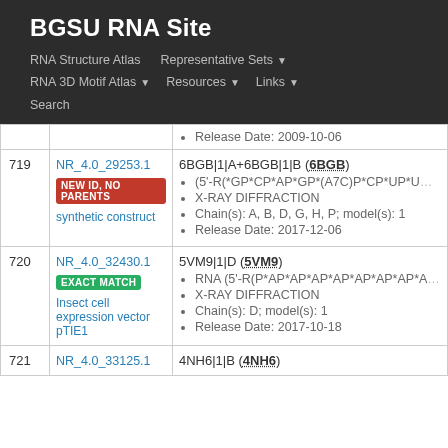BGSU RNA Site
RNA Structure Atlas | Representative Sets | RNA 3D Motif Atlas | Resources | Links | Search
| # | ID / Organism | Chains |
| --- | --- | --- |
|  | Release Date: 2009-10-06 |  |
| 719 | NR_4.0_29253.1 NEW ID, NO PARENTS synthetic construct | 6BGB|1|A+6BGB|1|B (6BGB) • (5'-R(*GP*CP*AP*GP*(A7C)P*CP*UP*U... • X-RAY DIFFRACTION • Chain(s): A, B, D, G, H, P; model(s): 1 • Release Date: 2017-12-06 |
| 720 | NR_4.0_32430.1 EXACT MATCH Insect cell expression vector pTIE1 | 5VM9|1|D (5VM9) • RNA (5'-R(P*AP*AP*AP*AP*AP*AP*AP*AP*A... • X-RAY DIFFRACTION • Chain(s): D; model(s): 1 • Release Date: 2017-10-18 |
| 721 | NR_4.0_33125.1 | 4NH6|1|B (4NH6) |